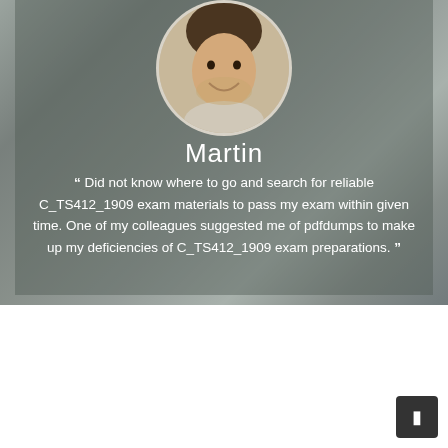[Figure (photo): Smiling young man headshot in circular frame, overlaid on blurred laptop/desk background photo]
Martin
“ Did not know where to go and search for reliable C_TS412_1909 exam materials to pass my exam within given time. One of my colleagues suggested me of pdfdumps to make up my deficiencies of C_TS412_1909 exam preparations. ”